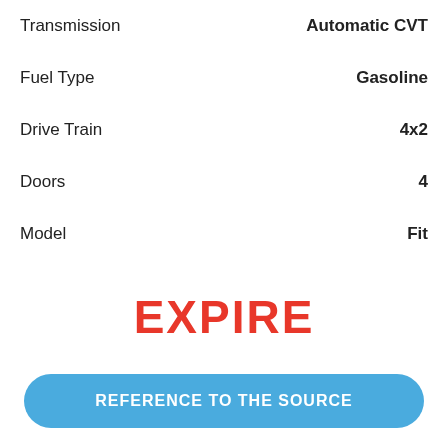Transmission — Automatic CVT
Fuel Type — Gasoline
Drive Train — 4x2
Doors — 4
Model — Fit
EXPIRE
REFERENCE TO THE SOURCE